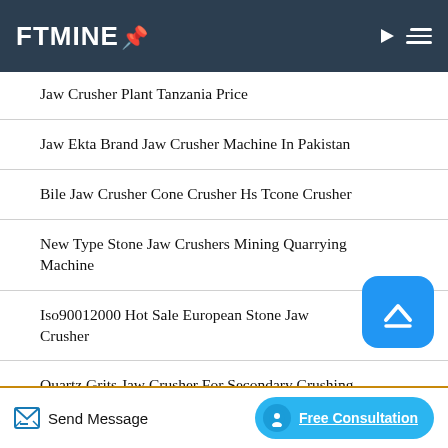FTMINE
Jaw Crusher Plant Tanzania Price
Jaw Ekta Brand Jaw Crusher Machine In Pakistan
Bile Jaw Crusher Cone Crusher Hs Tcone Crusher
New Type Stone Jaw Crushers Mining Quarrying Machine
Iso90012000 Hot Sale European Stone Jaw Crusher
Quartz Grits Jaw Crusher For Secondary Crushing
Send Message   Free Consultation